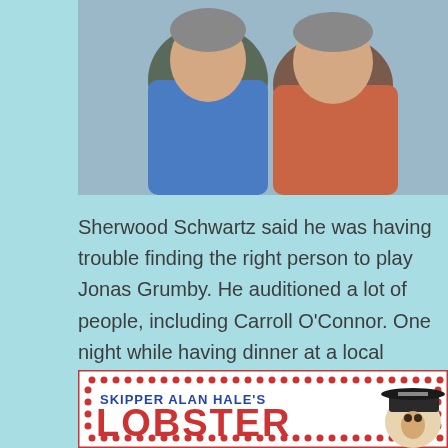[Figure (photo): Two men posing together, one wearing a blue shirt on the left and one wearing a red/orange shirt on the right.]
Sherwood Schwartz said he was having trouble finding the right person to play Jonas Grumby. He auditioned a lot of people, including Carroll O’Connor. One night while having dinner at a local restaurant he saw Hale dressed in a Civil War costume and decided he might be the one. Although the Skipper often became frustrated with Gilligan, they had a father and son relationship. Hale and Denver managed to pull that off. They were close friends in their personal lives as well.
[Figure (illustration): Banner for Skipper Alan Hale's Lobster restaurant with red dot border, blue bold text reading 'SKIPPER ALAN HALE’S', large red bold text reading 'LOBSTER', and an illustration of a man wearing a captain's hat on the right side.]